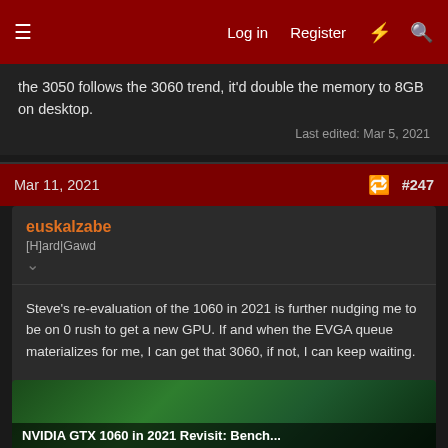≡  Log in  Register  ⚡  🔍
the 3050 follows the 3060 trend, it'd double the memory to 8GB on desktop.
Last edited: Mar 5, 2021
Mar 11, 2021  #247
euskalzabe
[H]ard|Gawd
Steve's re-evaluation of the 1060 in 2021 is further nudging me to be on 0 rush to get a new GPU. If and when the EVGA queue materializes for me, I can get that 3060, if not, I can keep waiting.
For all of you who are still on a 1060 like me, this is certainly worth a watch.
[Figure (screenshot): Thumbnail of a video titled 'NVIDIA GTX 1060 in 2021 Revisit: Bench...' showing a GPU against a green circuit board background]